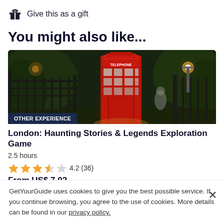Give this as a gift
You might also like...
[Figure (photo): Night photo of a red British telephone box on a dark street with trees and street lights, with a badge reading OTHER EXPERIENCE]
London: Haunting Stories & Legends Exploration Game
2.5 hours
4.2 (36)
From US$ 7.02
GetYourGuide uses cookies to give you the best possible service. If you continue browsing, you agree to the use of cookies. More details can be found in our privacy policy.